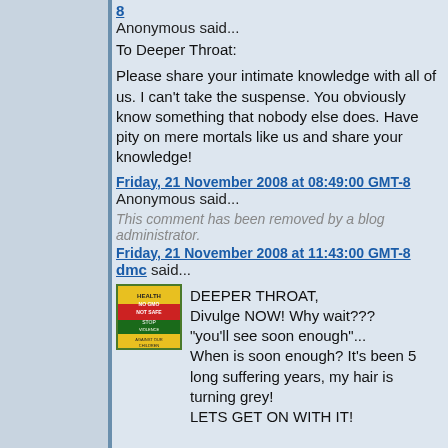8
Anonymous said...
To Deeper Throat:
Please share your intimate knowledge with all of us. I can't take the suspense. You obviously know something that nobody else does. Have pity on mere mortals like us and share your knowledge!
Friday, 21 November 2008 at 08:49:00 GMT-8
Anonymous said...
This comment has been removed by a blog administrator.
Friday, 21 November 2008 at 11:43:00 GMT-8
dmc said...
[Figure (photo): Avatar image for dmc - colorful poster style image with text]
DEEPER THROAT,
Divulge NOW! Why wait???
"you'll see soon enough"...
When is soon enough? It's been 5 long suffering years, my hair is turning grey!
LETS GET ON WITH IT!